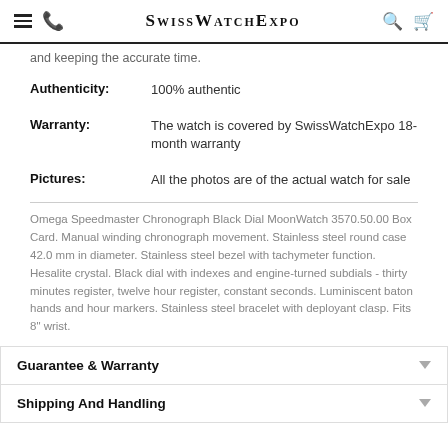SwissWatchExpo
and keeping the accurate time.
| Authenticity: | 100% authentic |
| Warranty: | The watch is covered by SwissWatchExpo 18-month warranty |
| Pictures: | All the photos are of the actual watch for sale |
Omega Speedmaster Chronograph Black Dial MoonWatch 3570.50.00 Box Card. Manual winding chronograph movement. Stainless steel round case 42.0 mm in diameter. Stainless steel bezel with tachymeter function. Hesalite crystal. Black dial with indexes and engine-turned subdials - thirty minutes register, twelve hour register, constant seconds. Luminiscent baton hands and hour markers. Stainless steel bracelet with deployant clasp. Fits 8" wrist.
Guarantee & Warranty
Shipping And Handling